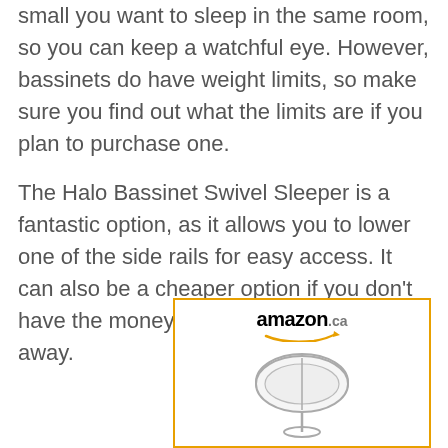small you want to sleep in the same room, so you can keep a watchful eye. However, bassinets do have weight limits, so make sure you find out what the limits are if you plan to purchase one.
The Halo Bassinet Swivel Sleeper is a fantastic option, as it allows you to lower one of the side rails for easy access. It can also be a cheaper option if you don't have the money to shell out for a crib right away.
[Figure (other): Amazon.ca product listing showing a Halo Bassinet Swivel Sleeper product image with the Amazon.ca logo at the top.]